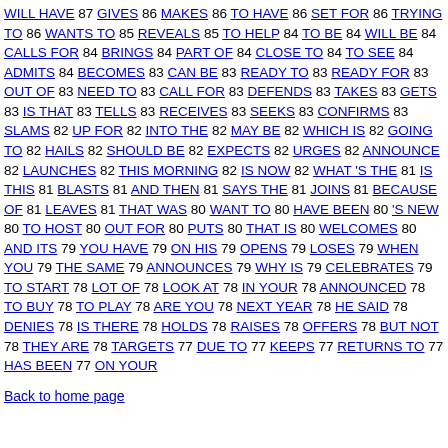WILL HAVE 87 GIVES 86 MAKES 86 TO HAVE 86 SET FOR 86 TRYING TO 86 WANTS TO 85 REVEALS 85 TO HELP 84 TO BE 84 WILL BE 84 CALLS FOR 84 BRINGS 84 PART OF 84 CLOSE TO 84 TO SEE 84 ADMITS 84 BECOMES 83 CAN BE 83 READY TO 83 READY FOR 83 OUT OF 83 NEED TO 83 CALL FOR 83 DEFENDS 83 TAKES 83 GETS 83 IS THAT 83 TELLS 83 RECEIVES 83 SEEKS 83 CONFIRMS 83 SLAMS 82 UP FOR 82 INTO THE 82 MAY BE 82 WHICH IS 82 GOING TO 82 HAILS 82 SHOULD BE 82 EXPECTS 82 URGES 82 ANNOUNCE 82 LAUNCHES 82 THIS MORNING 82 IS NOW 82 WHAT 'S THE 81 IS THIS 81 BLASTS 81 AND THEN 81 SAYS THE 81 JOINS 81 BECAUSE OF 81 LEAVES 81 THAT WAS 80 WANT TO 80 HAVE BEEN 80 'S NEW 80 TO HOST 80 OUT FOR 80 PUTS 80 THAT IS 80 WELCOMES 80 AND ITS 79 YOU HAVE 79 ON HIS 79 OPENS 79 LOSES 79 WHEN YOU 79 THE SAME 79 ANNOUNCES 79 WHY IS 79 CELEBRATES 79 TO START 78 LOT OF 78 LOOK AT 78 IN YOUR 78 ANNOUNCED 78 TO BUY 78 TO PLAY 78 ARE YOU 78 NEXT YEAR 78 HE SAID 78 DENIES 78 IS THERE 78 HOLDS 78 RAISES 78 OFFERS 78 BUT NOT 78 THEY ARE 78 TARGETS 77 DUE TO 77 KEEPS 77 RETURNS TO 77 HAS BEEN 77 ON YOUR
Back to home page